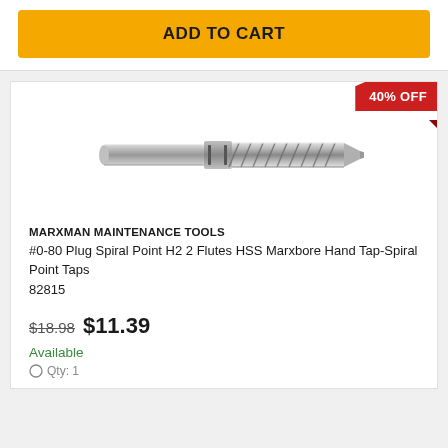ADD TO CART
[Figure (photo): Metal end mill / spiral point tap tool, cylindrical shank with spiral flutes, photographed on white background]
MARXMAN MAINTENANCE TOOLS
#0-80 Plug Spiral Point H2 2 Flutes HSS Marxbore Hand Tap-Spiral Point Taps
82815
$18.98  $11.39
Available